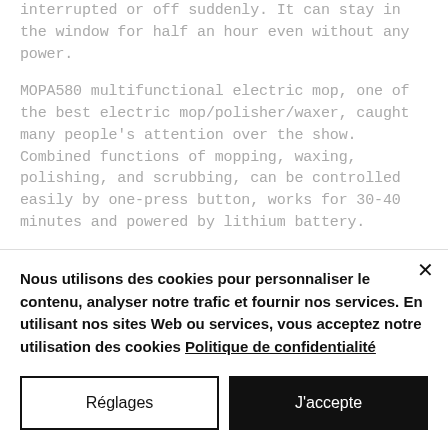interrupted or off suddenly. It can stay in the window for half an hour even without any power.
MOPA580 multifunctional electric mop, one of the best electric mop/polisher/waxer, caught many people's attention over the show. Combined functions of mopping, waxing, polishing, and scrubbing, can be controlled easily by one-press button, works for 30-40 minutes and powered by lithium battery.
Mamibot also released it's new designed
Nous utilisons des cookies pour personnaliser le contenu, analyser notre trafic et fournir nos services. En utilisant nos sites Web ou services, vous acceptez notre utilisation des cookies Politique de confidentialité
Réglages
J&#39;accepte